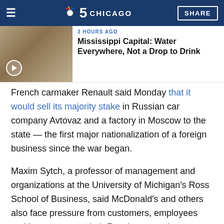NBC 5 Chicago
[Figure (screenshot): Thumbnail image of people with boxes, with a play button overlay]
3 HOURS AGO
Mississippi Capital: Water Everywhere, Not a Drop to Drink
French carmaker Renault said Monday that it would sell its majority stake in Russian car company Avtovaz and a factory in Moscow to the state — the first major nationalization of a foreign business since the war began.
Maxim Sytch, a professor of management and organizations at the University of Michigan's Ross School of Business, said McDonald's and others also face pressure from customers, employees and investors over their Russian operations.
“The era where companies could avoid taking a stance is over,” Sytch said. “People want to be associated with